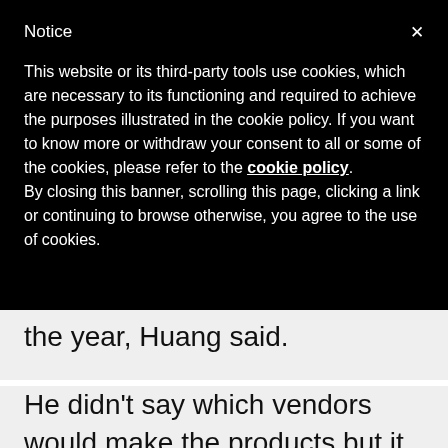Notice
This website or its third-party tools use cookies, which are necessary to its functioning and required to achieve the purposes illustrated in the cookie policy. If you want to know more or withdraw your consent to all or some of the cookies, please refer to the cookie policy.
By closing this banner, scrolling this page, clicking a link or continuing to browse otherwise, you agree to the use of cookies.
the year, Huang said.
He didn't say which vendors would make the products but it seems likely they will come from existing Nvidia partners, who include Motorola, Dell, Sony and Asustek.